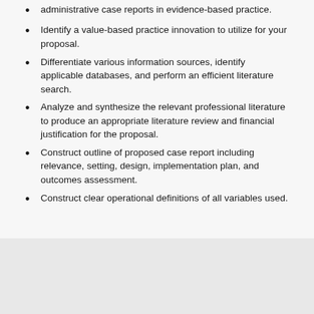administrative case reports in evidence-based practice.
Identify a value-based practice innovation to utilize for your proposal.
Differentiate various information sources, identify applicable databases, and perform an efficient literature search.
Analyze and synthesize the relevant professional literature to produce an appropriate literature review and financial justification for the proposal.
Construct outline of proposed case report including relevance, setting, design, implementation plan, and outcomes assessment.
Construct clear operational definitions of all variables used.